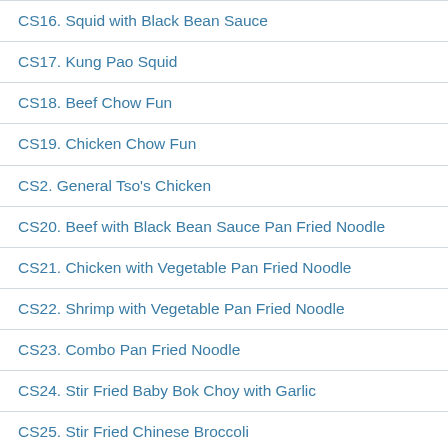CS16. Squid with Black Bean Sauce
CS17. Kung Pao Squid
CS18. Beef Chow Fun
CS19. Chicken Chow Fun
CS2. General Tso's Chicken
CS20. Beef with Black Bean Sauce Pan Fried Noodle
CS21. Chicken with Vegetable Pan Fried Noodle
CS22. Shrimp with Vegetable Pan Fried Noodle
CS23. Combo Pan Fried Noodle
CS24. Stir Fried Baby Bok Choy with Garlic
CS25. Stir Fried Chinese Broccoli